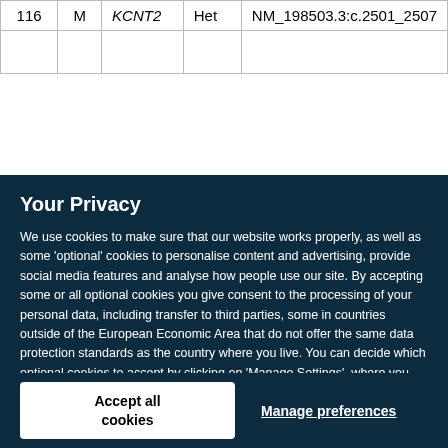| 116 | M | KCNT2 | Het | NM_198503.3:c.2501_2507 |
|  |  |  |  |  |
Your Privacy
We use cookies to make sure that our website works properly, as well as some ‘optional’ cookies to personalise content and advertising, provide social media features and analyse how people use our site. By accepting some or all optional cookies you give consent to the processing of your personal data, including transfer to third parties, some in countries outside of the European Economic Area that do not offer the same data protection standards as the country where you live. You can decide which optional cookies to accept by clicking on ‘Manage Settings’, where you can also find more information about how your personal data is processed. Further information can be found in our privacy policy.
Accept all cookies
Manage preferences